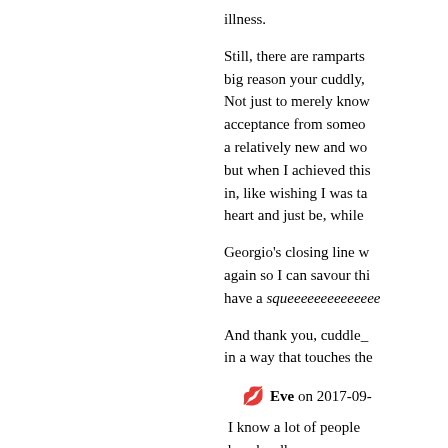illness.
Still, there are ramparts big reason your cuddly, Not just to merely know acceptance from someone a relatively new and wo but when I achieved this in, like wishing I was ta heart and just be, while
Georgio's closing line w again so I can savour thi have a squeeeeeeeeeeeeee
And thank you, cuddle_ in a way that touches the
💋 Eve on 2017-09-
I know a lot of people be a hurdle as you say look like, fat, skinny,